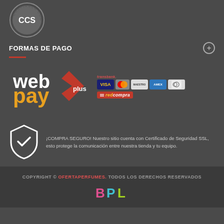[Figure (logo): CCS Confianza Commerce circular seal logo in grey tones]
FORMAS DE PAGO
[Figure (logo): WebPay Plus logo with Transbank card payment options including VISA, MasterCard, Maestro, American Express, Diners Club, and RedCompra]
¡COMPRA SEGURO! Nuestro sitio cuenta con Certificado de Seguridad SSL, esto protege la comunicación entre nuestra tienda y tu equipo.
COPYRIGHT © OFERTAPERFUMES. TODOS LOS DERECHOS RESERVADOS
[Figure (logo): BPL logo in pink, cyan and yellow-green colors]